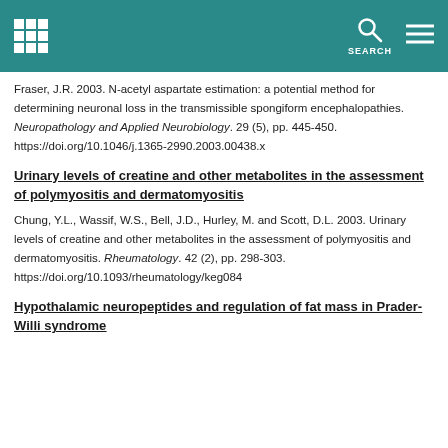SEARCH
Fraser, J.R. 2003. N-acetyl aspartate estimation: a potential method for determining neuronal loss in the transmissible spongiform encephalopathies. Neuropathology and Applied Neurobiology. 29 (5), pp. 445-450. https://doi.org/10.1046/j.1365-2990.2003.00438.x
Urinary levels of creatine and other metabolites in the assessment of polymyositis and dermatomyositis
Chung, Y.L., Wassif, W.S., Bell, J.D., Hurley, M. and Scott, D.L. 2003. Urinary levels of creatine and other metabolites in the assessment of polymyositis and dermatomyositis. Rheumatology. 42 (2), pp. 298-303. https://doi.org/10.1093/rheumatology/keg084
Hypothalamic neuropeptides and regulation of fat mass in Prader-Willi syndrome